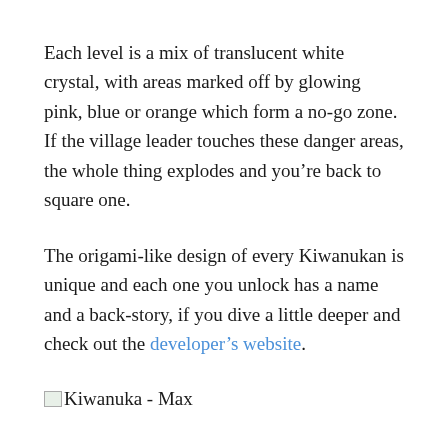Each level is a mix of translucent white crystal, with areas marked off by glowing pink, blue or orange which form a no-go zone. If the village leader touches these danger areas, the whole thing explodes and you’re back to square one.
The origami-like design of every Kiwanukan is unique and each one you unlock has a name and a back-story, if you dive a little deeper and check out the developer’s website.
[Figure (other): Small broken/placeholder image icon followed by the text 'Kiwanuka - Max']